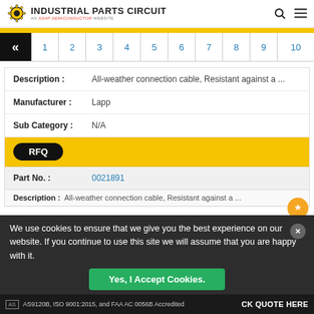INDUSTRIAL PARTS CIRCUIT — An ASAP Semiconductor Website
[Figure (screenshot): Pagination bar with back arrow and page numbers 1 through 10]
| Field | Value |
| --- | --- |
| Description : | All-weather connection cable, Resistant against a ... |
| Manufacturer : | Lapp |
| Sub Category : | N/A |
| RFQ |  |
| Part No. : | 0021891 |
We use cookies to ensure that we give you the best experience on our website. If you continue to use this site we will assume that you are happy with it.
Yes, I Accept Cookies.
AS9120B, ISO 9001:2015, and FAA AC 0056B Accredited — CLICK QUOTE HERE